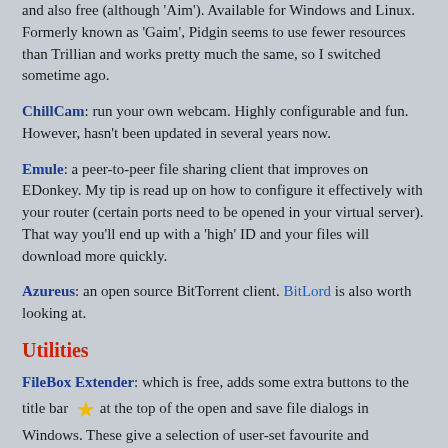and also free (although 'Aim'). Available for Windows and Linux. Formerly known as 'Gaim', Pidgin seems to use fewer resources than Trillian and works pretty much the same, so I switched sometime ago.
ChillCam: run your own webcam. Highly configurable and fun. However, hasn't been updated in several years now.
Emule: a peer-to-peer file sharing client that improves on EDonkey. My tip is read up on how to configure it effectively with your router (certain ports need to be opened in your virtual server). That way you'll end up with a 'high' ID and your files will download more quickly.
Azureus: an open source BitTorrent client. BitLord is also worth looking at.
Utilities
FileBox Extender: which is free, adds some extra buttons to the title bar at the top of the open and save file dialogs in Windows. These give a selection of user-set favourite and automatic last-used locations. Two other buttons let you roll up a window to just the title bar — which is handy if you want a quick look at something behind — and another 'pins'